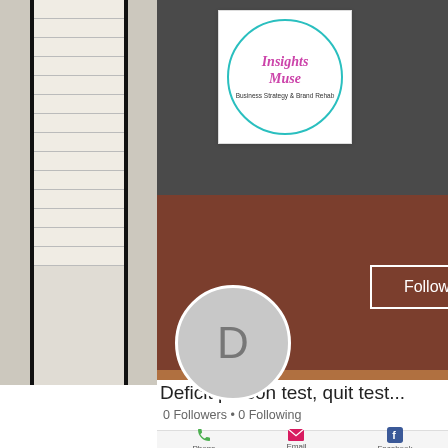[Figure (screenshot): Screenshot of a social media profile page for 'Insights Muse - Business Strategy & Brand Rehab'. Shows a cover photo with window blinds and dark background, a logo with teal circle, a 'D' avatar, Follow button, profile name 'Deficit person test, quit test...', '0 Followers • 0 Following', and bottom icons for Phone, Email, Facebook.]
Deficit person test, quit test...
0 Followers • 0 Following
Phone
Email
Facebook